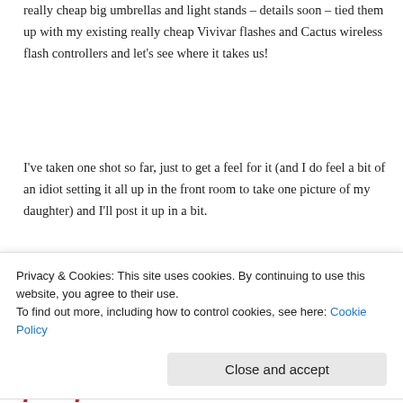really cheap big umbrellas and light stands – details soon – tied them up with my existing really cheap Vivivar flashes and Cactus wireless flash controllers and let's see where it takes us!
I've taken one shot so far, just to get a feel for it (and I do feel a bit of an idiot setting it all up in the front room to take one picture of my daughter) and I'll post it up in a bit.
I'll let you know how I get on!
[Figure (infographic): Social sharing buttons: Tweet button (blue rounded), Facebook, Twitter, LinkedIn, Email, Print circle icons, and SHARE THIS: label]
Privacy & Cookies: This site uses cookies. By continuing to use this website, you agree to their use.
To find out more, including how to control cookies, see here: Cookie Policy
Close and accept
first few weeks